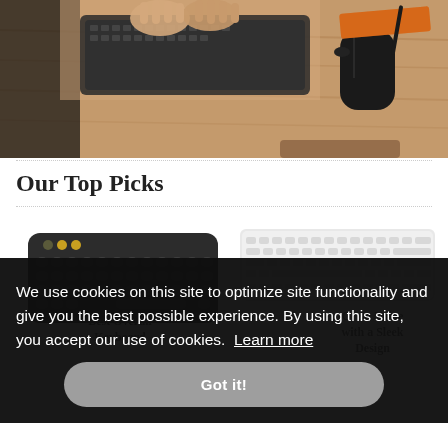[Figure (photo): Overhead view of a person's hands on a keyboard, with a mouse, orange notebook and pen on a wooden desk surface]
Our Top Picks
[Figure (photo): Dark gray rounded wireless keyboard (left) and slim white wireless keyboard (right) product images]
Best Overall Keyboard
Great Value with a Sleek Design
We use cookies on this site to optimize site functionality and give you the best possible experience. By using this site, you accept our use of cookies. Learn more
Got it!